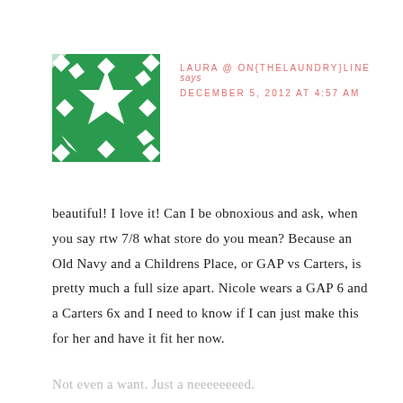[Figure (illustration): Green geometric quilt-pattern avatar with diamond and star shapes on white background]
LAURA @ ON{THELAUNDRY}LINE says
DECEMBER 5, 2012 AT 4:57 AM
beautiful! I love it! Can I be obnoxious and ask, when you say rtw 7/8 what store do you mean? Because an Old Navy and a Childrens Place, or GAP vs Carters, is pretty much a full size apart. Nicole wears a GAP 6 and a Carters 6x and I need to know if I can just make this for her and have it fit her now.
Not even a want. Just a neeeeeeeed.